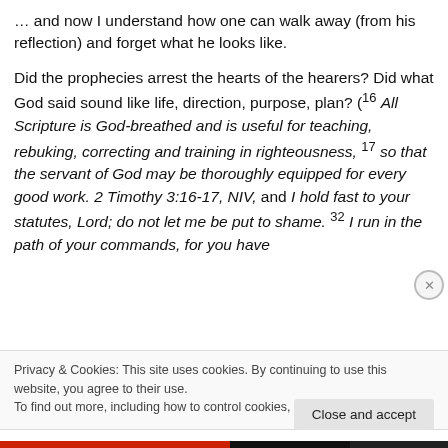… and now I understand how one can walk away (from his reflection) and forget what he looks like.
Did the prophecies arrest the hearts of the hearers? Did what God said sound like life, direction, purpose, plan? (16 All Scripture is God-breathed and is useful for teaching, rebuking, correcting and training in righteousness, 17 so that the servant of God may be thoroughly equipped for every good work. 2 Timothy 3:16-17, NIV, and I hold fast to your statutes, Lord; do not let me be put to shame. 32 I run in the path of your commands, for you have
Privacy & Cookies: This site uses cookies. By continuing to use this website, you agree to their use.
To find out more, including how to control cookies, see here: Cookie Policy